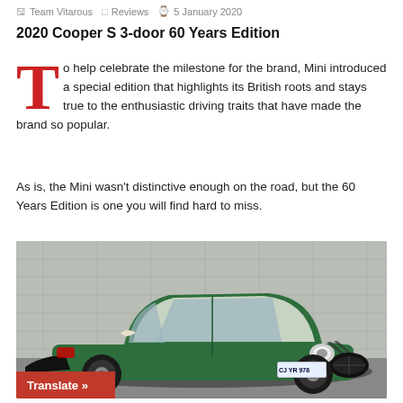Team Vitarous   Reviews   5 January 2020
2020 Cooper S 3-door 60 Years Edition
To help celebrate the milestone for the brand, Mini introduced a special edition that highlights its British roots and stays true to the enthusiastic driving traits that have made the brand so popular.
As is, the Mini wasn't distinctive enough on the road, but the 60 Years Edition is one you will find hard to miss.
[Figure (photo): Green Mini Cooper S 3-door 60 Years Edition car parked, front three-quarter view, with racing stripes on the hood, Ontario license plate CJ YR 978, against a concrete wall background. A red 'Translate »' button overlays the bottom-left of the image.]